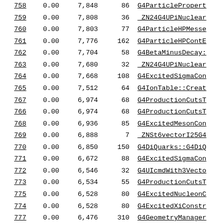| rank | val1 | val2 | val3 | name |
| --- | --- | --- | --- | --- |
| 758 | 0.00 | 7,848 | 86 | G4ParticlePropert... |
| 759 | 0.00 | 7,808 | 36 | _ZN24G4UPiNuclear... |
| 760 | 0.00 | 7,803 | 77 | G4ParticleHPMesse... |
| 761 | 0.00 | 7,776 | 162 | G4ParticleHPContE... |
| 762 | 0.00 | 7,704 | 58 | G4BetaMinusDecay:... |
| 763 | 0.00 | 7,680 | 32 | _ZN24G4UPiNuclear... |
| 764 | 0.00 | 7,668 | 108 | G4ExcitedSigmaCon... |
| 765 | 0.00 | 7,512 | 64 | G4IonTable::Creat... |
| 767 | 0.00 | 6,974 | 68 | G4ProductionCutsT... |
| 766 | 0.00 | 6,974 | 68 | G4ProductionCutsT... |
| 768 | 0.00 | 6,936 | 85 | G4ExcitedMesonCon... |
| 769 | 0.00 | 6,888 | 7 | _ZNSt6vectorI25G4... |
| 770 | 0.00 | 6,850 | 150 | G4DiQuarks::G4DiQ... |
| 771 | 0.00 | 6,672 | 88 | G4ExcitedSigmaCon... |
| 772 | 0.00 | 6,546 | 32 | G4UIcmdWith3Vecto... |
| 773 | 0.00 | 6,534 | 55 | G4ProductionCutsT... |
| 775 | 0.00 | 6,528 | 80 | G4ExcitedNucleonC... |
| 774 | 0.00 | 6,528 | 80 | G4ExcitedXiConstr... |
| 777 | 0.00 | 6,476 | 310 | G4GeometryManager... |
| 776 | 0.00 | 6,476 | 310 | G4GeometryManager... |
| 778 | 0.00 | 6,432 | 309 | _ZNSt6vectorIPK20... |